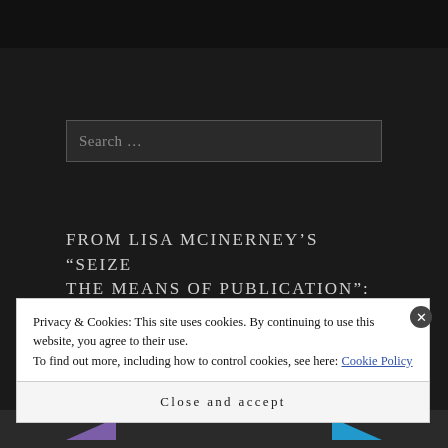[Figure (screenshot): Dark themed webpage with a search box showing placeholder text 'Search ...' and an article title heading]
FROM LISA MCINERNEY'S “SEIZE THE MEANS OF PUBLICATION”:
Privacy & Cookies: This site uses cookies. By continuing to use this website, you agree to their use. To find out more, including how to control cookies, see here: Cookie Policy
Close and accept